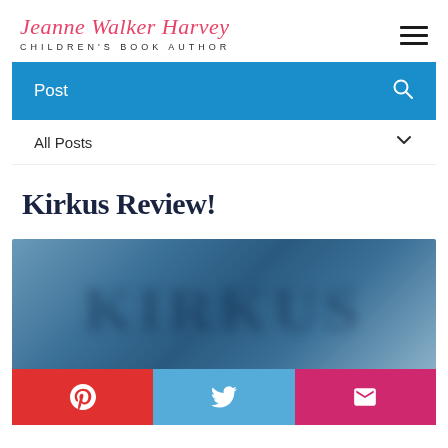Jeanne Walker Harvey — CHILDREN'S BOOK AUTHOR
Post
All Posts
Kirkus Review!
[Figure (photo): Blurred image of the Kirkus Reviews logo/text on a blue-grey background]
[Figure (infographic): Social sharing buttons: Pinterest (red), Twitter (light blue), Email (magenta/pink)]